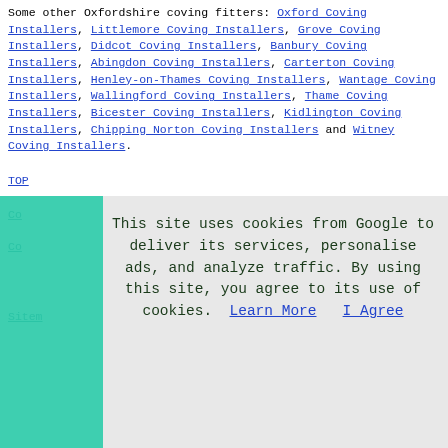Some other Oxfordshire coving fitters: Oxford Coving Installers, Littlemore Coving Installers, Grove Coving Installers, Didcot Coving Installers, Banbury Coving Installers, Abingdon Coving Installers, Carterton Coving Installers, Henley-on-Thames Coving Installers, Wantage Coving Installers, Wallingford Coving Installers, Thame Coving Installers, Bicester Coving Installers, Kidlington Coving Installers, Chipping Norton Coving Installers and Witney Coving Installers.
TOP
Co...
Co...
Sitemap...
This site uses cookies from Google to deliver its services, personalise ads, and analyze traffic. By using this site, you agree to its use of cookies. Learn More   I Agree